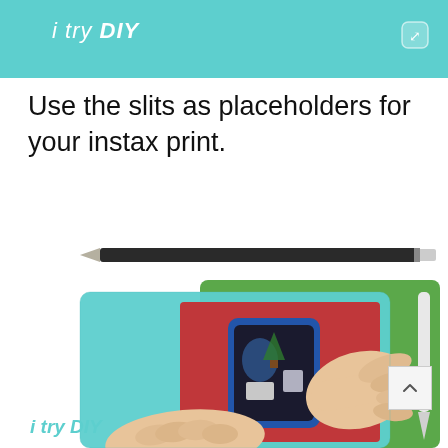i try DIY
Use the slits as placeholders for your instax print.
[Figure (photo): Photo of hands placing an instax print into a blue-framed holder on a red paper, on a turquoise cutting mat, with a pencil and craft knife visible nearby. A green sheet is partially visible.]
i try DIY